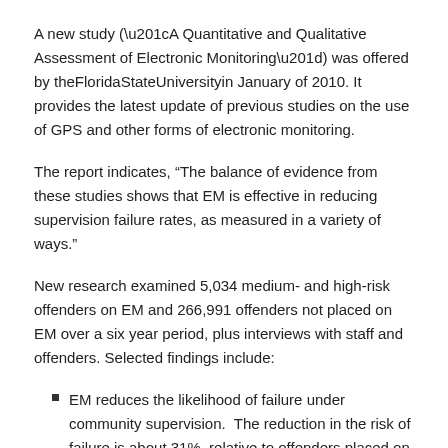A new study (“A Quantitative and Qualitative Assessment of Electronic Monitoring”) was offered by theFloridaStateUniversityin January of 2010. It provides the latest update of previous studies on the use of GPS and other forms of electronic monitoring.
The report indicates, “The balance of evidence from these studies shows that EM is effective in reducing supervision failure rates, as measured in a variety of ways.”
New research examined 5,034 medium- and high-risk offenders on EM and 266,991 offenders not placed on EM over a six year period, plus interviews with staff and offenders. Selected findings include:
EM reduces the likelihood of failure under community supervision.  The reduction in the risk of failure is about 31%, relative to offenders placed on other forms of community supervision.
EM supervision has less of an impact on violent offenders than on sex, drug, property, and other types of offenders, although there are